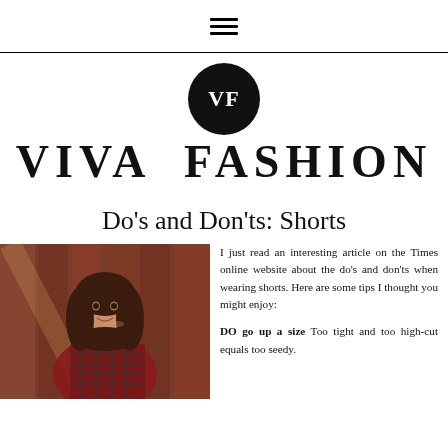≡
[Figure (logo): Viva Fashion logo: black circle with VF initials in white, and VIVA FASHION text below in large serif uppercase]
Do's and Don'ts: Shorts
[Figure (photo): Woman with long dark hair wearing a red and black plaid shirt, standing in front of a wooden background]
I just read an interesting article on the Times online website about the do's and don'ts when wearing shorts. Here are some tips I thought you might enjoy:
DO go up a size Too tight and too high-cut equals too seedy.